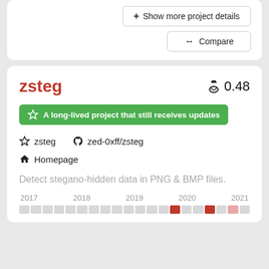[Figure (screenshot): Show more project details button and Compare button in a white card]
zsteg
0.48
A long-lived project that still receives updates
zsteg   zed-0xff/zsteg
Homepage
Detect stegano-hidden data in PNG & BMP files.
[Figure (other): Activity timeline bar showing years 2017-2021 with colored cells indicating activity levels]